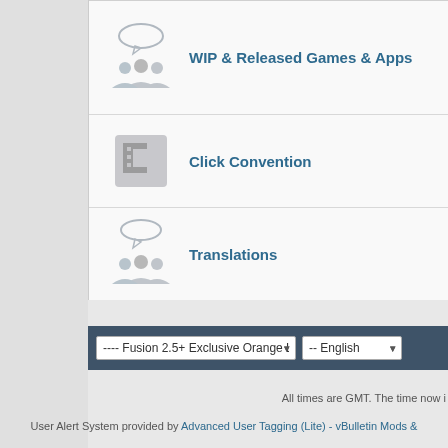[Figure (other): Forum row: WIP & Released Games & Apps with group/people icon]
WIP & Released Games & Apps
[Figure (other): Forum row: Click Convention with pixelated C icon]
Click Convention
[Figure (other): Forum row: Translations with group/people icon]
Translations
---- Fusion 2.5+ Exclusive Orange Launch Theme
-- English
All times are GMT. The time now i
User Alert System provided by Advanced User Tagging (Lite) - vBulletin Mods &